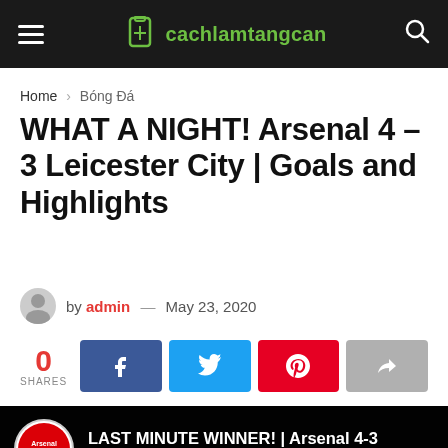cachlamtangcan
Home > Bóng Đá
WHAT A NIGHT! Arsenal 4 – 3 Leicester City | Goals and Highlights
by admin — May 23, 2020
0 SHARES
[Figure (screenshot): Video thumbnail showing Arsenal logo with text 'LAST MINUTE WINNER! | Arsenal 4-3 Leicester' and HIGHLIGHTS text at bottom]